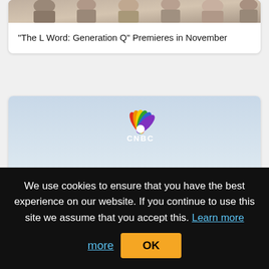[Figure (photo): Partial view of a group photo at top of page, cropped]
“The L Word: Generation Q” Premieres in November
[Figure (photo): Man driving a vintage open-top hot rod car on a desert road, CNBC logo visible in upper center]
“Jay Leno’s Garage” Premieres in September
We use cookies to ensure that you have the best experience on our website. If you continue to use this site we assume that you accept this. Learn more
OK